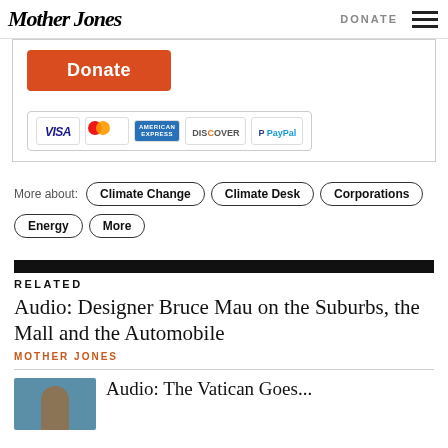Mother Jones | DONATE
[Figure (other): Donate button (orange/red) with payment method icons: VISA, MasterCard, American Express, Discover, PayPal]
More about: Climate Change  Climate Desk  Corporations  Energy  More
RELATED
Audio: Designer Bruce Mau on the Suburbs, the Mall and the Automobile
MOTHER JONES
Audio: The Vatican Goes...